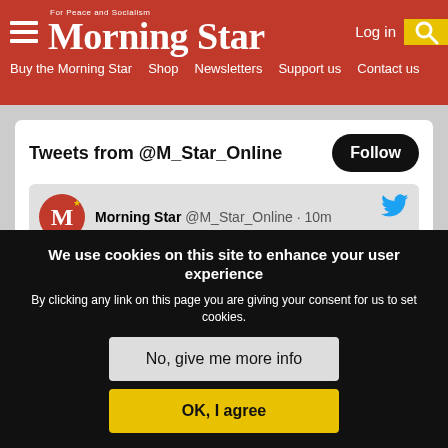Morning Star — For Peace and Socialism
Buy the Morning Star  Shop  Newsletters  Support us  Contact us
Tweets from @M_Star_Online
Morning Star @M_Star_Online · 10m
Reject the capitalist variants and receive a daily dose of socialism in your inbox. Sign up to the free Morning Star daily newsletter here: morningstaronline.us19.list-manage.com/subscribe/post…
We use cookies on this site to enhance your user experience
By clicking any link on this page you are giving your consent for us to set cookies.
No, give me more info
OK, I agree